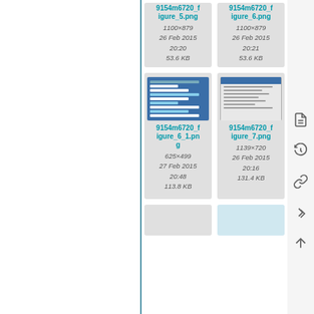[Figure (screenshot): File card for 9154m6720_figure_5.png, showing link text, dimensions 1100×879, date 26 Feb 2015 20:20, size 53.6 KB]
[Figure (screenshot): File card for 9154m6720_figure_6.png, showing link text, dimensions 1100×879, date 26 Feb 2015 20:21, size 53.6 KB]
[Figure (screenshot): Thumbnail of a blue table/settings UI. File card for 9154m6720_figure_6_1.png, 625×499, 27 Feb 2015 20:48, 113.8 KB]
[Figure (screenshot): Thumbnail of a dialog window UI. File card for 9154m6720_figure_7.png, 1139×720, 26 Feb 2015 20:16, 131.4 KB]
[Figure (screenshot): Partial view of two more file cards at the bottom of the page]